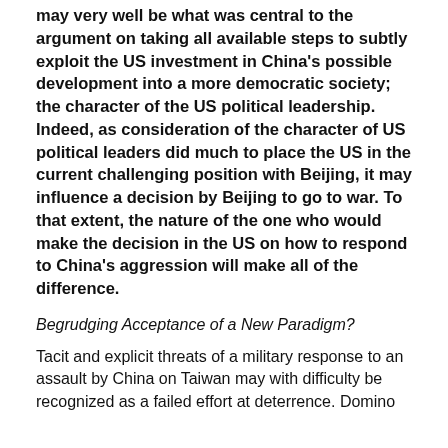may very well be what was central to the argument on taking all available steps to subtly exploit the US investment in China's possible development into a more democratic society; the character of the US political leadership. Indeed, as consideration of the character of US political leaders did much to place the US in the current challenging position with Beijing, it may influence a decision by Beijing to go to war. To that extent, the nature of the one who would make the decision in the US on how to respond to China's aggression will make all of the difference.
Begrudging Acceptance of a New Paradigm?
Tacit and explicit threats of a military response to an assault by China on Taiwan may with difficulty be recognized as a failed effort at deterrence. Domino